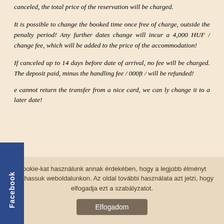canceled, the total price of the reservation will be charged.
It is possible to change the booked time once free of charge, outside the penalty period! Any further dates change will incur a 4,000 HUF / change fee, which will be added to the price of the accommodation!
If canceled up to 14 days before date of arrival, no fee will be charged. The deposit paid, minus the handling fee / 000ft / will be refunded!
e cannot return the transfer from a nice card, we can ly change it to a later date!
Cookie-kat használunk annak érdekében, hogy a legjobb élményt nyújthassuk weboldalunkon. Az oldal további használata azt jelzi, hogy elfogadja ezt a szabályzatot.
Elfogadom